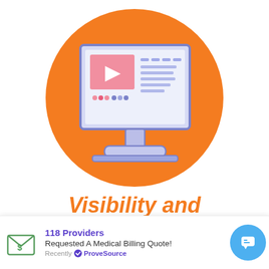[Figure (illustration): An orange circle with a computer monitor icon. The monitor screen shows a pink video thumbnail with a play button, and blue text/content lines to the right. Below the screen are pink and blue dots. The monitor has a stand and base in blue/purple outline style.]
Visibility and Transparency
The days of tirelessly waiting for y...
118 Providers
Requested A Medical Billing Quote!
Recently ✓ ProveSource